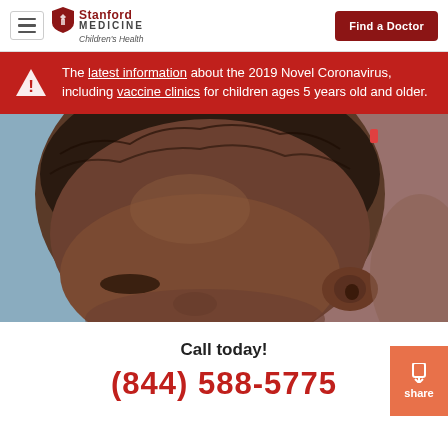Stanford Medicine Children's Health | Find a Doctor
The latest information about the 2019 Novel Coronavirus, including vaccine clinics for children ages 5 years old and older.
[Figure (photo): Close-up photo of a young Black child's face and head, eyes closed, taken from slightly above. Light blue and reddish background visible.]
Call today!
(844) 588-5775